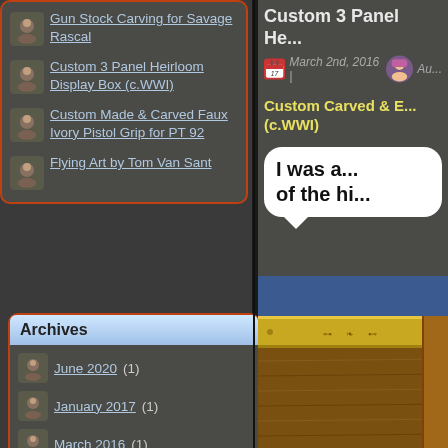Gun Stock Carving for Savage Rascal
Custom 3 Panel Heirloom Display Box (c.WWI)
Custom Made & Carved Faux Ivory Pistol Grip for PT 92
Flying Art by Tom Van Sant
Archives
June 2020 (1)
January 2017 (1)
March 2016 (1)
October 2013 (1)
Custom 3 Panel He...
March 2nd, 2016 | Au...
Custom Carved & E... (c.WWI)
I was a... of the hi...
[Figure (photo): Photo of a custom carved wooden display box with brass strip/plate engraved with decorative motifs, shown against a blue background]